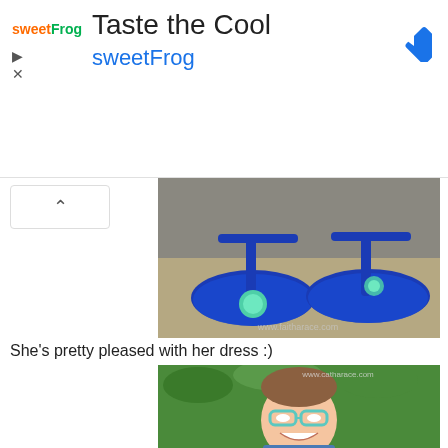[Figure (infographic): Advertisement banner for sweetFrog frozen yogurt: 'Taste the Cool' title, sweetFrog logo, navigation arrow icon, play and close buttons]
[Figure (photo): Close-up photo of blue glittery T-strap shoes with teal pom-pom accents on a concrete surface. Watermark reads www.faitharace.com]
She's pretty pleased with her dress :)
[Figure (photo): Photo of a smiling girl with glasses wearing a floral dress, laughing outdoors with green foliage in background. Watermark reads www.catharace.com]